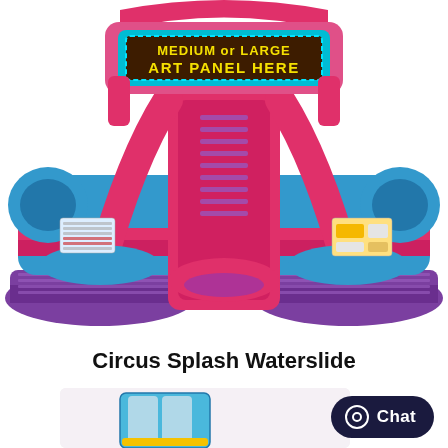[Figure (photo): A large inflatable bounce house and double waterslide in pink, blue, and purple colors. At the top is a marquee-style sign with a brown/dark background and teal border reading 'MEDIUM or LARGE ART PANEL HERE' in yellow text. The inflatable has dual slide lanes and a climbing area in the center.]
Circus Splash Waterslide
[Figure (photo): A partial view of a blue and silver waterslide inflatable structure against a light pink/white background.]